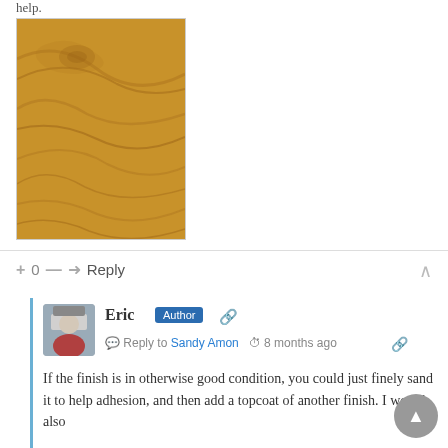help.
[Figure (photo): Close-up photograph of wood grain with warm golden-brown tones, showing natural wood grain patterns and knots.]
+ 0 — → Reply
Eric  Author  Reply to Sandy Amon  8 months ago
If the finish is in otherwise good condition, you could just finely sand it to help adhesion, and then add a topcoat of another finish. I would also